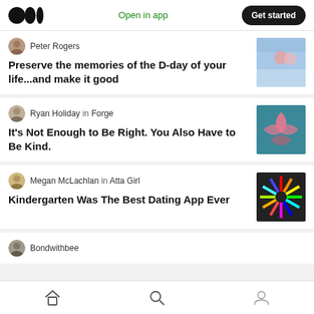Medium logo | Open in app | Get started
Peter Rogers
Preserve the memories of the D-day of your life...and make it good
Ryan Holiday in Forge
It's Not Enough to Be Right. You Also Have to Be Kind.
Megan McLachlan in Atta Girl
Kindergarten Was The Best Dating App Ever
Bondwithbee
Home | Search | Profile